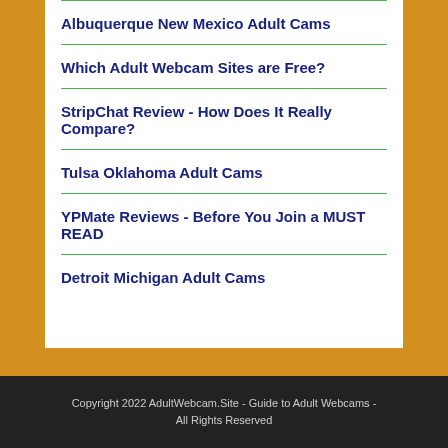Albuquerque New Mexico Adult Cams
Which Adult Webcam Sites are Free?
StripChat Review - How Does It Really Compare?
Tulsa Oklahoma Adult Cams
YPMate Reviews - Before You Join a MUST READ
Detroit Michigan Adult Cams
Copyright 2022 AdultWebcam.Site - Guide to Adult Webcams - All Rights Reserved